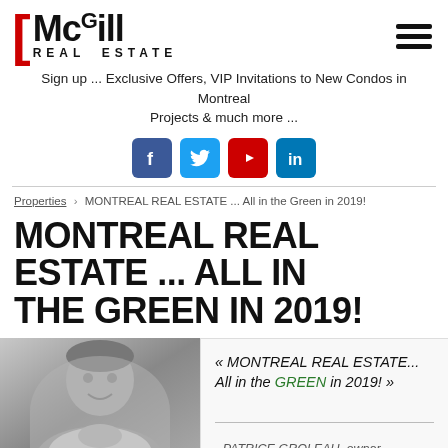McGill Real Estate
Sign up ... Exclusive Offers, VIP Invitations to New Condos in Montreal Projects & much more ...
[Figure (infographic): Social media icons: Facebook, Twitter, YouTube, LinkedIn]
Properties > MONTREAL REAL ESTATE ... All in the Green in 2019!
MONTREAL REAL ESTATE ... ALL IN THE GREEN IN 2019!
[Figure (photo): Black and white photo of a man smiling with hands clasped, with a quote overlay: « MONTREAL REAL ESTATE... All in the GREEN in 2019! » - PATRICE GROLEAU, owner]